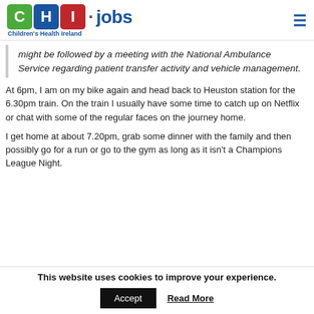CHI.jobs Children's Health Ireland
might be followed by a meeting with the National Ambulance Service regarding patient transfer activity and vehicle management.
At 6pm, I am on my bike again and head back to Heuston station for the 6.30pm train. On the train I usually have some time to catch up on Netflix or chat with some of the regular faces on the journey home.
I get home at about 7.20pm, grab some dinner with the family and then possibly go for a run or go to the gym as long as it isn't a Champions League Night.
This website uses cookies to improve your experience.
Accept   Read More